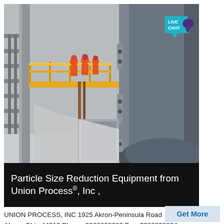[Figure (photo): Industrial milling or grinding equipment in a large facility. Workers in orange safety gear and red hard hats stand on a yellow-railed mezzanine platform. The foreground shows a large grey cylindrical grinding mill with metal flanges and bolts. Steel staircases and structural columns are visible in the background.]
Particle Size Reduction Equipment from Union Process®, Inc ,
UNION PROCESS, INC 1925 Akron-Peninsula Road Akron, Ohio 44313 Phone: 3309293333 Fax: 3309293034
Get More